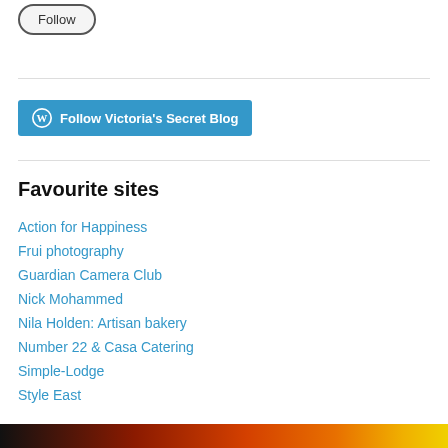[Figure (other): Follow button — rounded rectangle button with text 'Follow']
[Figure (other): WordPress Follow button — blue rounded rectangle with WordPress icon and text 'Follow Victoria's Secret Blog']
Favourite sites
Action for Happiness
Frui photography
Guardian Camera Club
Nick Mohammed
Nila Holden: Artisan bakery
Number 22 & Casa Catering
Simple-Lodge
Style East